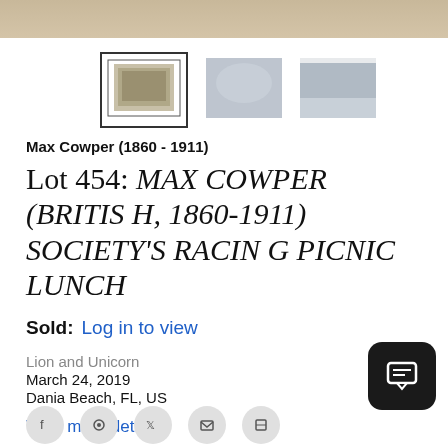[Figure (photo): Top strip showing a partial view of a painting or artwork, cropped at top]
[Figure (photo): Three thumbnail images of the artwork: first in a double border frame showing a small painting, second showing a winter/landscape scene, third showing another view]
Max Cowper (1860 - 1911)
Lot 454: MAX COWPER (BRITISH, 1860-1911) SOCIETY'S RACING PICNIC LUNCH
Sold: Log in to view
Lion and Unicorn
March 24, 2019
Dania Beach, FL, US
View more details